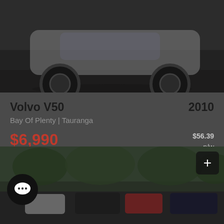[Figure (photo): Top portion of a white Volvo V50 car, showing the front with a wheel visible, on a dark background]
Volvo V50  2010
Bay Of Plenty | Tauranga
$6,990  $56.39 p/w  $225.55 p/m
109,753km  Automatic  Petrol
[Figure (photo): Dealership car lot with multiple cars parked, trees in background, with a chat bubble icon and a plus button overlay]